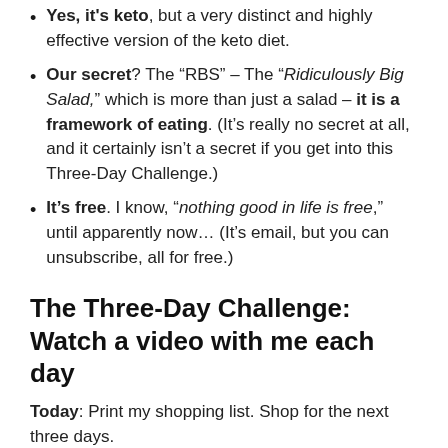Yes, it's keto, but a very distinct and highly effective version of the keto diet.
Our secret? The “RBS” – The “Ridiculously Big Salad,” which is more than just a salad – it is a framework of eating. (It’s really no secret at all, and it certainly isn’t a secret if you get into this Three-Day Challenge.)
It’s free. I know, “nothing good in life is free,” until apparently now… (It’s email, but you can unsubscribe, all for free.)
The Three-Day Challenge: Watch a video with me each day
Today: Print my shopping list. Shop for the next three days.